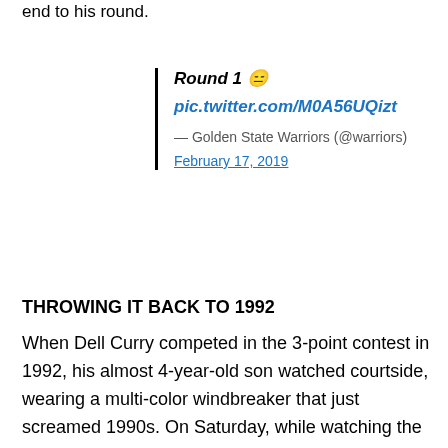end to his round.
Round 1 🙁
pic.twitter.com/M0A56UQizt
— Golden State Warriors (@warriors)
February 17, 2019
THROWING IT BACK TO 1992
When Dell Curry competed in the 3-point contest in 1992, his almost 4-year-old son watched courtside, wearing a multi-color windbreaker that just screamed 1990s. On Saturday, while watching the dunk contest,